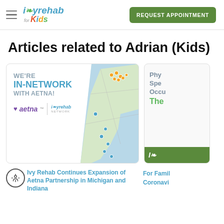[Figure (logo): Ivy Rehab for Kids logo with hamburger menu icon]
[Figure (screenshot): Green REQUEST APPOINTMENT button]
Articles related to Adrian (Kids)
[Figure (infographic): Card: WE'RE IN-NETWORK WITH AETNA! with aetna and ivyrehab logos and a Michigan/Indiana map with location pins]
[Figure (screenshot): Card showing Physical, Speech, Occupational, The... text with green bottom bar and ivy logo]
Ivy Rehab Continues Expansion of Aetna Partnership in Michigan and Indiana
For Families Coronavi...